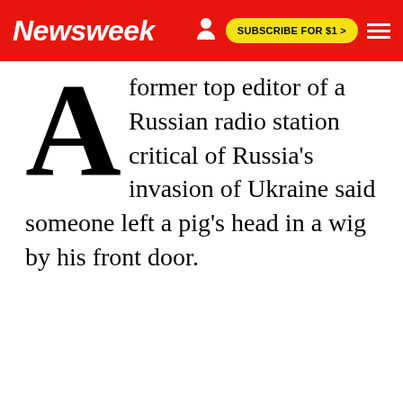Newsweek | SUBSCRIBE FOR $1 >
A former top editor of a Russian radio station critical of Russia's invasion of Ukraine said someone left a pig's head in a wig by his front door.